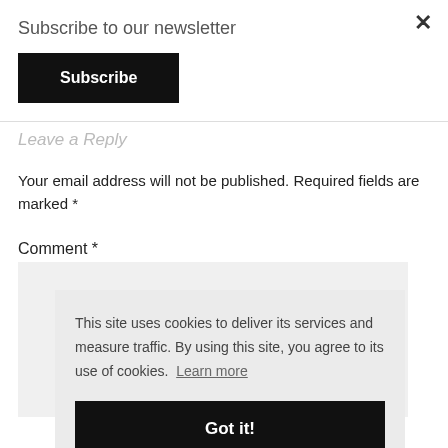Subscribe to our newsletter
Subscribe
Leave a Reply
Your email address will not be published. Required fields are marked *
Comment *
This site uses cookies to deliver its services and measure traffic. By using this site, you agree to its use of cookies. Learn more
Got it!